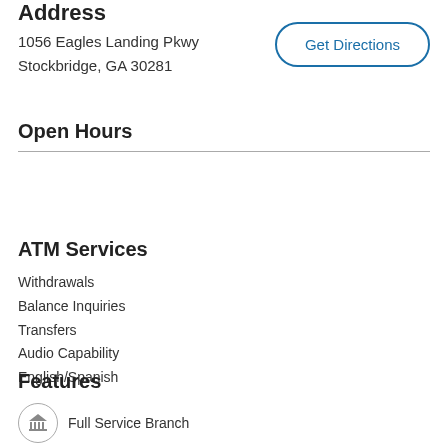Address
1056 Eagles Landing Pkwy
Stockbridge, GA 30281
Get Directions
Open Hours
ATM Services
Withdrawals
Balance Inquiries
Transfers
Audio Capability
English/Spanish
Features
Full Service Branch